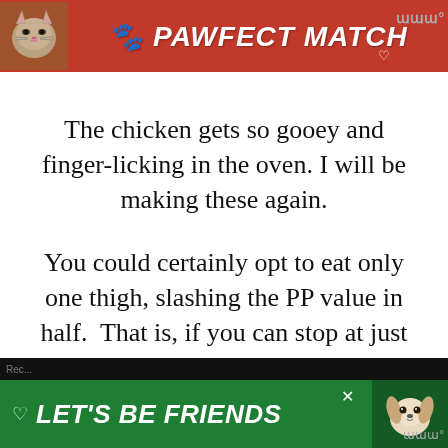[Figure (screenshot): Top advertisement banner with orange-red background showing a cat and text 'PAWFECT MATCH' with a heart icon, and a logo in the top-right corner]
The chicken gets so gooey and finger-licking in the oven. I will be making these again.
You could certainly opt to eat only one thigh, slashing the PP value in half.  That is, if you can stop at just one!
[Figure (screenshot): Bottom advertisement banner with green background showing a dog and text 'LET'S BE FRIENDS' with a heart icon, close button, and logo]
[Figure (screenshot): Like (heart) button circle in green with count of 1, and share button circle below it]